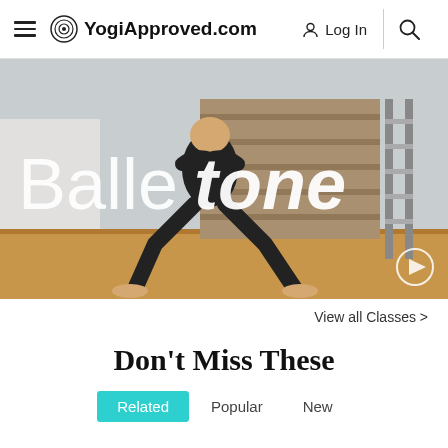YogiApproved.com  Log In
[Figure (photo): A person in black workout clothes performing a wide-legged squat/plie pose in a dance/yoga studio. Large text overlay reads 'Balletone' in white. A play button icon is visible in the bottom right corner.]
View all Classes >
Don't Miss These
Related
Popular
New